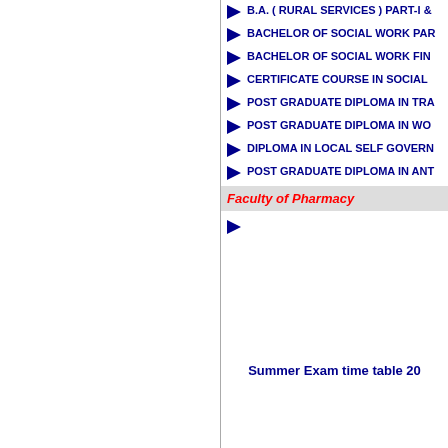B.A. ( RURAL SERVICES ) PART-I &…
BACHELOR OF SOCIAL WORK PAR…
BACHELOR OF SOCIAL WORK FIN…
CERTIFICATE COURSE IN SOCIAL…
POST GRADUATE DIPLOMA IN TRA…
POST GRADUATE DIPLOMA IN WO…
DIPLOMA IN LOCAL SELF GOVERN…
POST GRADUATE DIPLOMA IN ANT…
Faculty of Pharmacy
Summer Exam time table 20…